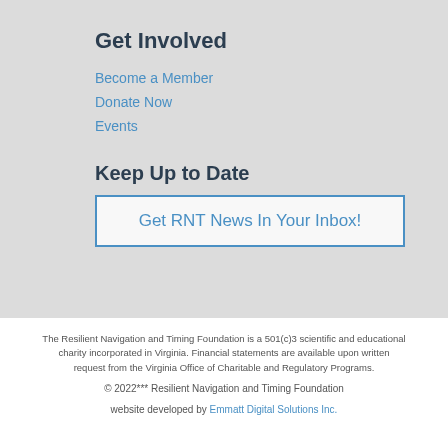Get Involved
Become a Member
Donate Now
Events
Keep Up to Date
Get RNT News In Your Inbox!
The Resilient Navigation and Timing Foundation is a 501(c)3 scientific and educational charity incorporated in Virginia. Financial statements are available upon written request from the Virginia Office of Charitable and Regulatory Programs.
© 2022*** Resilient Navigation and Timing Foundation
website developed by Emmatt Digital Solutions Inc.